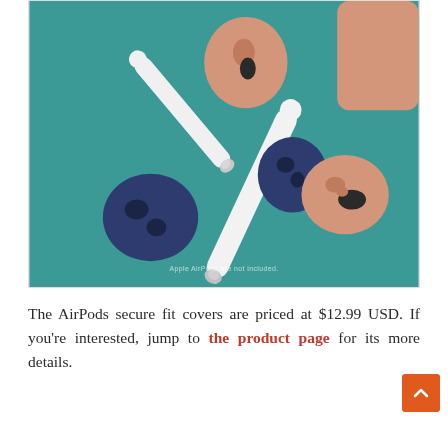[Figure (photo): AirPods with colorful silicone secure fit ear covers on a teal background. One white AirPod is lying sideways with a navy blue cover on its ear tip. Another ear tip cover in peach/skin tone is visible at top, and a peach/skin-tone wing tip attachment is on the right. A navy blue round ear cushion piece is at the bottom left. Watermark text reads 'Apple AirPods are not included.']
The AirPods secure fit covers are priced at $12.99 USD. If you're interested, jump to the product page for its more details.